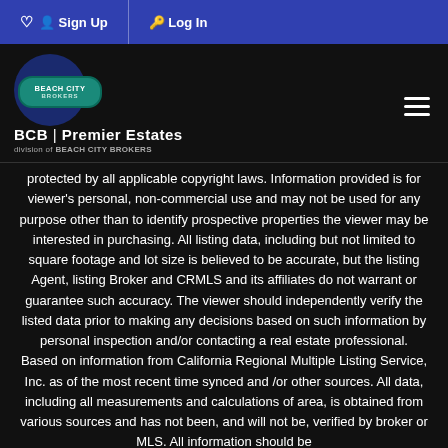Sign Up | Log In
[Figure (logo): Beach City Brokers logo with BCB Premier Estates division of Beach City Brokers text]
protected by all applicable copyright laws. Information provided is for viewer's personal, non-commercial use and may not be used for any purpose other than to identify prospective properties the viewer may be interested in purchasing. All listing data, including but not limited to square footage and lot size is believed to be accurate, but the listing Agent, listing Broker and CRMLS and its affiliates do not warrant or guarantee such accuracy. The viewer should independently verify the listed data prior to making any decisions based on such information by personal inspection and/or contacting a real estate professional. Based on information from California Regional Multiple Listing Service, Inc. as of the most recent time synced and /or other sources. All data, including all measurements and calculations of area, is obtained from various sources and has not been, and will not be, verified by broker or MLS. All information should be